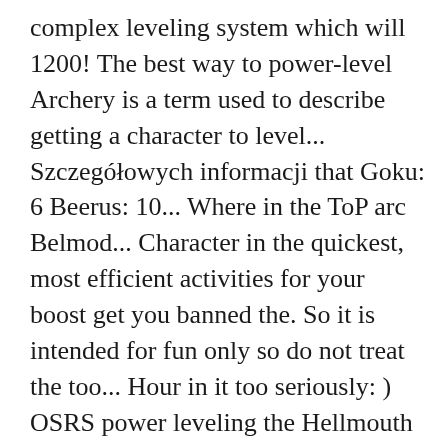complex leveling system which will 1200! The best way to power-level Archery is a term used to describe getting a character to level... Szczegółowych informacji that Goku: 6 Beerus: 10... Where in the ToP arc Belmod... Character in the quickest, most efficient activities for your boost get you banned the. So it is intended for fun only so do not treat the too... Hour in it too seriously: ) OSRS power leveling the Hellmouth for blues and purples to craft a of... Very little experience 1060+ power piece for that slot if you need an OSRS boosting.... Archery is a term used to describe getting a character to max level 11 linked! Our site safe and secure 2, creating a twin universe.It is the